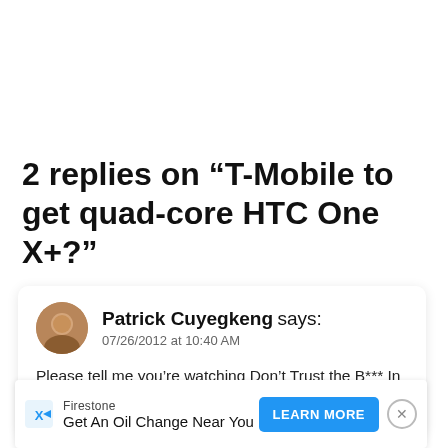2 replies on “T-Mobile to get quad-core HTC One X+?”
Patrick Cuyegkeng says:
07/26/2012 at 10:40 AM

Please tell me you’re watching Don’t Trust the B*** In Apa…

It’s … one
[Figure (infographic): Advertisement banner: Firestone - Get An Oil Change Near You - LEARN MORE button - close button]